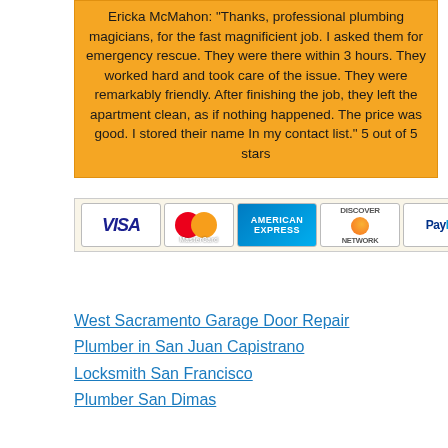Ericka McMahon: "Thanks, professional plumbing magicians, for the fast magnificient job. I asked them for emergency rescue. They were there within 3 hours. They worked hard and took care of the issue. They were remarkably friendly. After finishing the job, they left the apartment clean, as if nothing happened. The price was good. I stored their name In my contact list." 5 out of 5 stars
[Figure (other): Payment method logos: VISA, MasterCard, American Express, Discover, PayPal]
West Sacramento Garage Door Repair
Plumber in San Juan Capistrano
Locksmith San Francisco
Plumber San Dimas